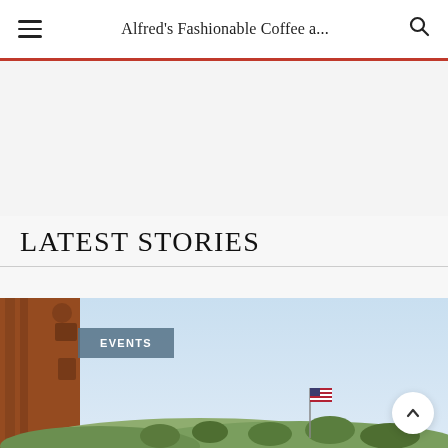Alfred's Fashionable Coffee a...
LATEST STORIES
[Figure (photo): Outdoor photo of a scenic view showing a wooden structure on the left, a clear blue sky, hills with trees, and an American flag in the distance. Overlaid with an 'EVENTS' category badge.]